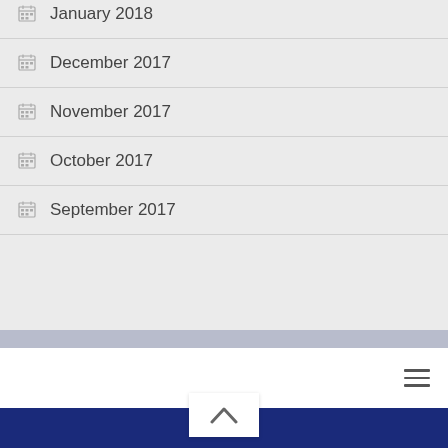January 2018
December 2017
November 2017
October 2017
September 2017
Back to top / Navigation footer